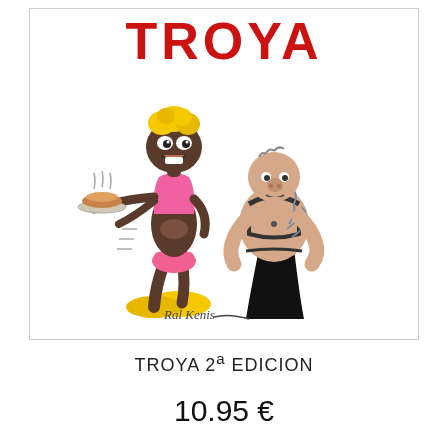[Figure (illustration): Book cover for TROYA 2nd edition. Red bold title text 'TROYA' at top. Cartoon illustration of two characters: a thin monkey-like figure in pink outfit with yellow shoes holding a tray, and a stocky tattooed figure in black pants and leather harness. Artist signature at bottom of cover.]
TROYA 2ª EDICION
10.95 €